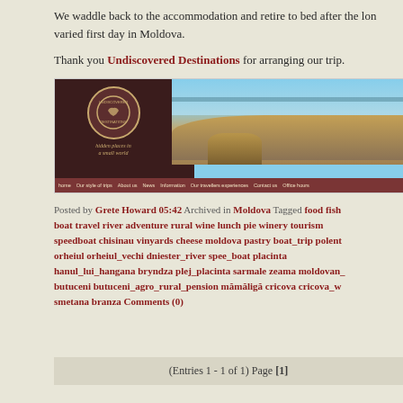We waddle back to the accommodation and retire to bed after the long and varied first day in Moldova.
Thank you Undiscovered Destinations for arranging our trip.
[Figure (screenshot): Screenshot of the Undiscovered Destinations website showing logo with 'hidden places in a small world' tagline, a desert/coastal landscape photo, and navigation bar with links: home, Our style of trips, About us, News, Information, Our travellers experiences, Contact us, Office hours]
Posted by Grete Howard 05:42 Archived in Moldova Tagged food fish boat travel river adventure rural wine lunch pie winery tourism speedboat chisinau vinyards cheese moldova pastry boat_trip polenta orheiul orheiul_vechi dniester_river spee_boat placinta hanul_lui_hangana bryndza plej_placinta sarmale zeama moldovan butuceni butuceni_agro_rural_pension măm ăligă cricova cricova_w smetana branza Comments (0)
(Entries 1 - 1 of 1) Page [1]